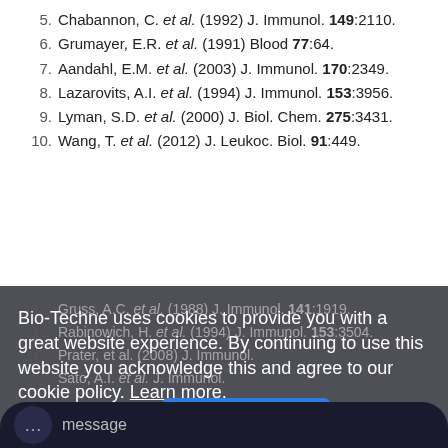5. Chabannon, C. et al. (1992) J. Immunol. 149:2110.
6. Grumayer, E.R. et al. (1991) Blood 77:64.
7. Aandahl, E.M. et al. (2003) J. Immunol. 170:2349.
8. Lazarovits, A.I. et al. (1994) J. Immunol. 153:3956.
9. Lyman, S.D. et al. (2000) J. Biol. Chem. 275:3431.
10. Wang, T. et al. (2012) J. Leukoc. Biol. 91:449.
11. Gruss, A.C. et al. (1988) J. Immunol. 141:1919.
12. Rabinowich, H. et al. (1994) J. Immunol. 153:3504.
13. [partially obscured] et al. (2008) J. Immunol.
14. Sato, A.I. et al. [partially obscured] J. Immunol.
Bio-Techne uses cookies to provide you with a great website experience. By continuing to use this website you acknowledge this and agree to our cookie policy. Learn more.